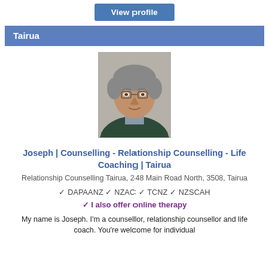View profile
Tairua
[Figure (photo): Headshot photo of Joseph, a middle-aged man with grey curly hair and glasses, wearing a dark green jacket]
Joseph | Counselling - Relationship Counselling - Life Coaching | Tairua
Relationship Counselling Tairua, 248 Main Road North, 3508, Tairua
✓ DAPAANZ ✓ NZAC ✓ TCNZ ✓ NZSCAH
✓ I also offer online therapy
My name is Joseph. I'm a counsellor, relationship counsellor and life coach. You're welcome for individual